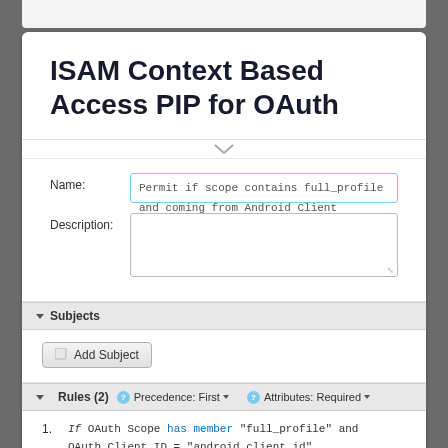ISAM Context Based Access PIP for OAuth
Name: Permit if scope contains full_profile and coming from Android Client
Description: (empty)
▼ Subjects
Add Subject
▼ Rules (2)  Precedence: First ▼  Attributes: Required ▼
1. If OAuth Scope has member "full_profile" and OAuth Client ID = "android_client_id"